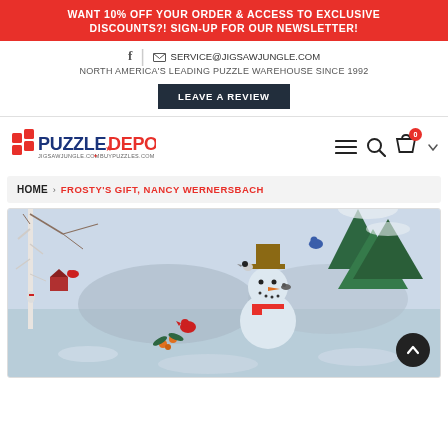WANT 10% OFF YOUR ORDER & ACCESS TO EXCLUSIVE DISCOUNTS?! SIGN-UP FOR OUR NEWSLETTER!
f | SERVICE@JIGSAWJUNGLE.COM
NORTH AMERICA'S LEADING PUZZLE WAREHOUSE SINCE 1992
LEAVE A REVIEW
[Figure (logo): PuzzleDepot logo with puzzle piece icon, text PUZZLEDEPOT and subtext jigsawjungle.com buypuzzles.com]
HOME > FROSTY'S GIFT, NANCY WERNERSBACH
[Figure (photo): Winter scene puzzle image showing a snowman with a brown hat surrounded by birds including cardinals and a blue jay, with snow-covered trees and a red barn in the background]